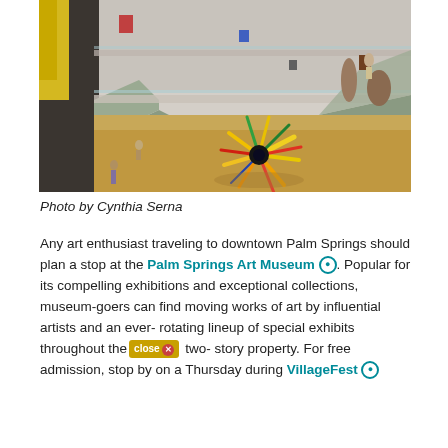[Figure (photo): Interior of the Palm Springs Art Museum showing multiple levels with ramps, sculptures, and a large colorful glass art piece (likely a Chihuly sculpture) on the floor below]
Photo by Cynthia Serna
Any art enthusiast traveling to downtown Palm Springs should plan a stop at the Palm Springs Art Museum. Popular for its compelling exhibitions and exceptional collections, museum-goers can find moving works of art by influential artists and an ever-rotating lineup of special exhibits throughout the two-story property. For free admission, stop by on a Thursday during VillageFest